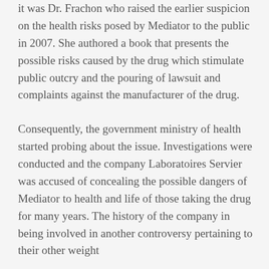it was Dr. Frachon who raised the earlier suspicion on the health risks posed by Mediator to the public in 2007. She authored a book that presents the possible risks caused by the drug which stimulate public outcry and the pouring of lawsuit and complaints against the manufacturer of the drug.
Consequently, the government ministry of health started probing about the issue. Investigations were conducted and the company Laboratoires Servier was accused of concealing the possible dangers of Mediator to health and life of those taking the drug for many years. The history of the company in being involved in another controversy pertaining to their other weight